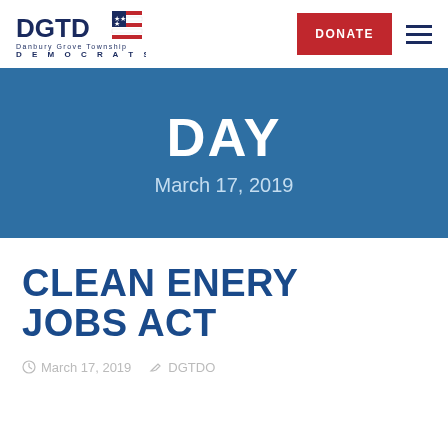[Figure (logo): DGTD Democrats logo with American flag motif]
DONATE
DAY
March 17, 2019
CLEAN ENERY JOBS ACT
March 17, 2019   DGTDO